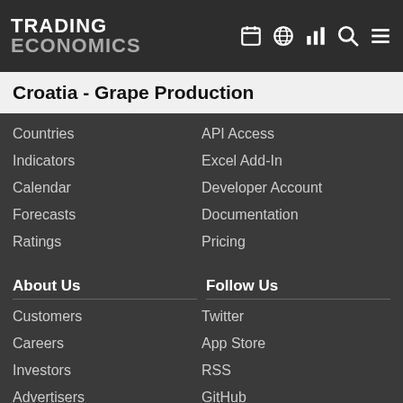TRADING ECONOMICS
Croatia - Grape Production
Countries
Indicators
Calendar
Forecasts
Ratings
API Access
Excel Add-In
Developer Account
Documentation
Pricing
About Us
Follow Us
Customers
Careers
Investors
Advertisers
About us
Twitter
App Store
RSS
GitHub
Privacy
Copyright ©2022 TRADING ECONOMICS
All Rights Reserved